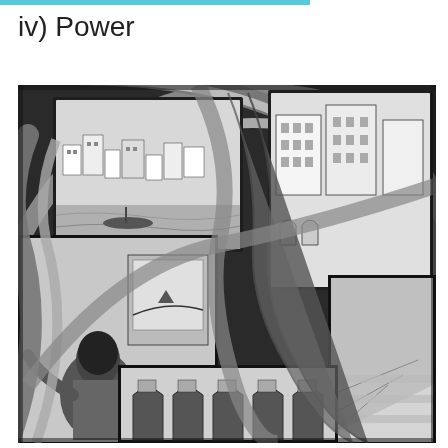iv) Power
[Figure (illustration): Black and white M.C. Escher-style lithograph showing a paradoxical architectural scene with curved perspective, depicting a man viewed from behind looking at an impossible building/gallery scene that loops back on itself. The image shows recursive architectural elements, a coastal town visible in upper left panels, and an art gallery in the lower right with arched windows.]